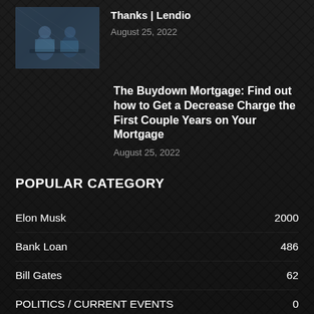[Figure (photo): Thumbnail image showing people working at a desk with laptops, dark toned office setting]
Thanks | Lendio
August 25, 2022
The Buydown Mortgage: Find out how to Get a Decrease Charge the First Couple Years on Your Mortgage
August 25, 2022
POPULAR CATEGORY
Elon Musk 2000
Bank Loan 486
Bill Gates 62
POLITICS / CURRENT EVENTS 0
REFERENCE 0